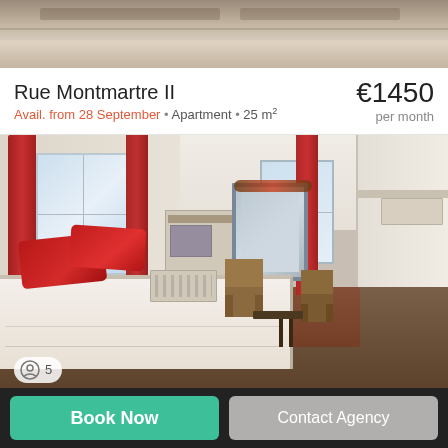[Figure (photo): Top portion of an apartment interior showing ceiling/loft structure]
Rue Montmartre II
Avail. from 28 September • Apartment • 25 m²
€1450 per month
[Figure (photo): Interior photo of a Parisian apartment room with red curtains, a bed with red pillows, a lamp, a fireplace mirror, chairs, dining area, and a kitchen alcove on the right. Photo count badge showing 5.]
Book Now
Contact Agency